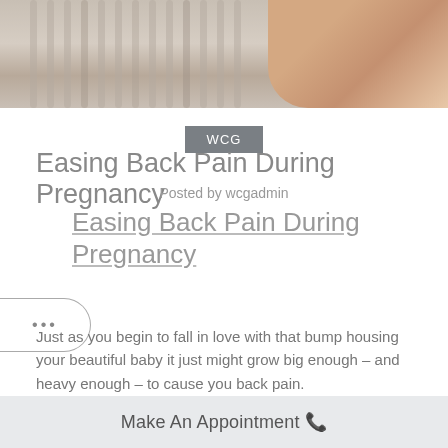[Figure (photo): Top portion of a photo showing a baby crib with vertical bars and a person's arm/hip in the background, beige/neutral tones]
WCG
Easing Back Pain During Pregnancy
Posted by wcgadmin
Easing Back Pain During Pregnancy
Just as you begin to fall in love with that bump housing your beautiful baby it just might grow big enough – and heavy enough – to cause you back pain.
While over the counter pain relievers are the obvious go-to for
Make An Appointment 📞